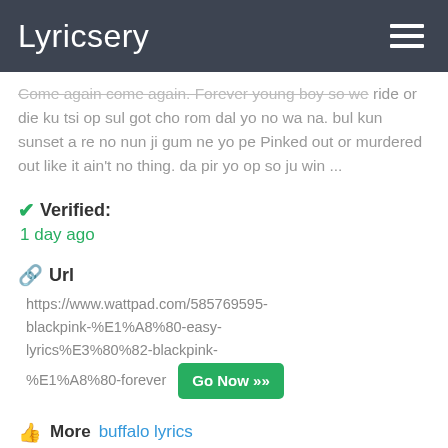Lyricsery
Come again come again. Forever young boy so we ride or die ku tsi op sul got cho rom dal yo no wa na. bul kun sunset a re no nun ji gum ne yo pe Pinked out or murdered out like it ain't no thing. da pir yo op so ju win ...
✔ Verified:
1 day ago
🔗 Url
https://www.wattpad.com/585769595-blackpink-%E1%A8%80-easy-lyrics%E3%80%82-blackpink-%E1%A8%80-forever  Go Now »»
👍 More  buffalo lyrics